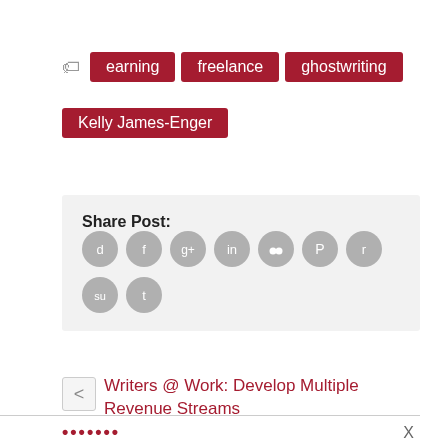earning
freelance
ghostwriting
Kelly James-Enger
[Figure (infographic): Share Post section with social media icon buttons: digg, facebook, google+, linkedin, myspace, pinterest, reddit, stumbleupon, twitter]
< Writers @ Work: Develop Multiple Revenue Streams
Writers@Work: Contests are one of a Writers Best Tools by C. Hope Clark >